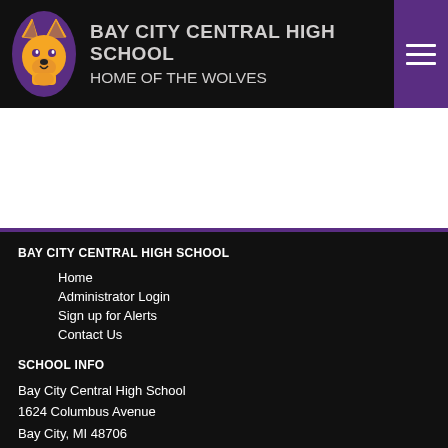BAY CITY CENTRAL HIGH SCHOOL HOME OF THE WOLVES
BAY CITY CENTRAL HIGH SCHOOL
Home
Administrator Login
Sign up for Alerts
Contact Us
SCHOOL INFO
Bay City Central High School
1624 Columbus Avenue
Bay City, MI 48706